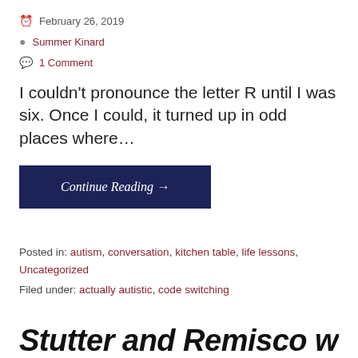February 26, 2019
Summer Kinard
1 Comment
I couldn't pronounce the letter R until I was six. Once I could, it turned up in odd places where…
Continue Reading →
Posted in: autism, conversation, kitchen table, life lessons, Uncategorized
Filed under: actually autistic, code switching